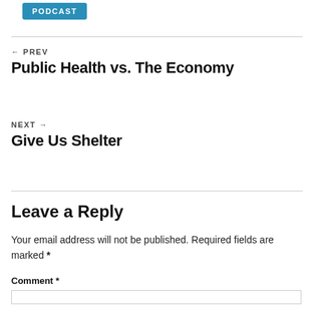[Figure (other): PODCAST button badge in teal/blue]
← PREV
Public Health vs. The Economy
NEXT →
Give Us Shelter
Leave a Reply
Your email address will not be published. Required fields are marked *
Comment *